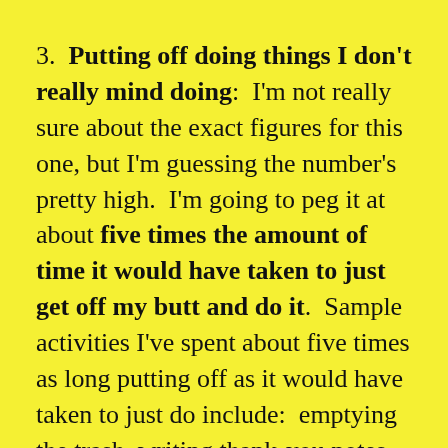3.  Putting off doing things I don't really mind doing:  I'm not really sure about the exact figures for this one, but I'm guessing the number's pretty high.  I'm going to peg it at about five times the amount of time it would have taken to just get off my butt and do it.  Sample activities I've spent about five times as long putting off as it would have taken to just do include:  emptying the trash, writing thank-you notes, calling my mother back, getting a breast exam, and meeting my boyfriend's parents.  I should probably leave that last one out of any calculations I do, though, because it'll